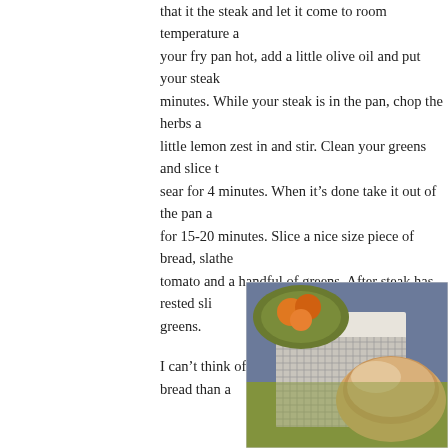that it the steak and let it come to room temperature and your fry pan hot, add a little olive oil and put your steak minutes. While your steak is in the pan, chop the herbs a little lemon zest in and stir. Clean your greens and slice t sear for 4 minutes. When it's done take it out of the pan a for 15-20 minutes. Slice a nice size piece of bread, slathe tomato and a handful of greens. After steak has rested sli greens.
I can't think of a better way to use this great bread than a
[Figure (photo): A photo of a rustic baked bread loaf on a wire cooling rack, with a bowl of oranges/tomatoes on a green plate in the background, set on a green placemat.]